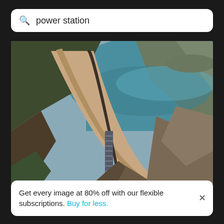power station
[Figure (photo): Aerial view of a curved arch dam with a reservoir of blue water behind it, surrounded by rocky mountain terrain. Steps/ladder run down from the top of the dam into the gorge below.]
Get every image at 80% off with our flexible subscriptions. Buy for less.